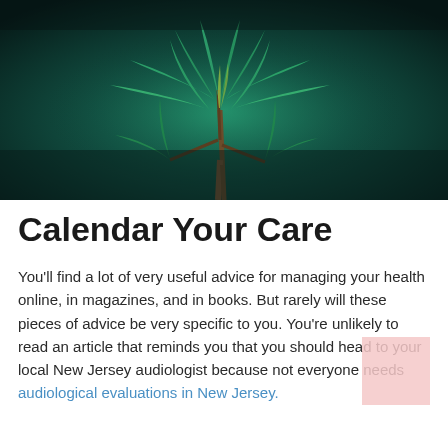[Figure (photo): Close-up photograph of a cannabis plant with green leaves against a dark teal background]
Calendar Your Care
You'll find a lot of very useful advice for managing your health online, in magazines, and in books. But rarely will these pieces of advice be very specific to you. You're unlikely to read an article that reminds you that you should head to your local New Jersey audiologist because not everyone needs audiological evaluations in New Jersey.